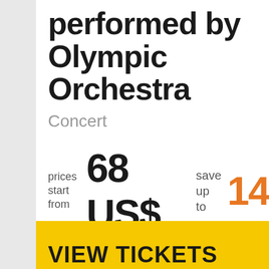performed by Olympic Orchestra
Concert
prices start from  68 US$  save up to  14
VIEW TICKETS
November